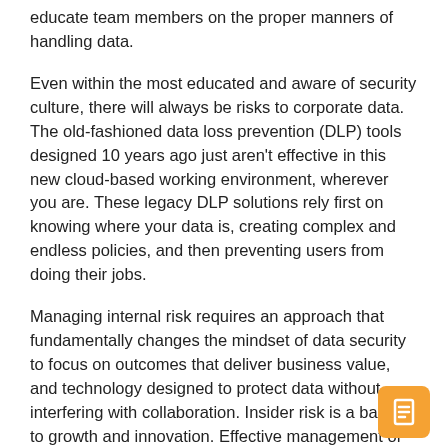educate team members on the proper manners of handling data.
Even within the most educated and aware of security culture, there will always be risks to corporate data. The old-fashioned data loss prevention (DLP) tools designed 10 years ago just aren't effective in this new cloud-based working environment, wherever you are. These legacy DLP solutions rely first on knowing where your data is, creating complex and endless policies, and then preventing users from doing their jobs.
Managing internal risk requires an approach that fundamentally changes the mindset of data security to focus on outcomes that deliver business value, and technology designed to protect data without interfering with collaboration. Insider risk is a barrier to growth and innovation. Effective management of insider risk is the key to unlocking the full potential of this next wave of digital transformation.
Ananth is a highly accomplished ecosystem of partners and a business development manager with deep expertise in the cybersecurity industry.